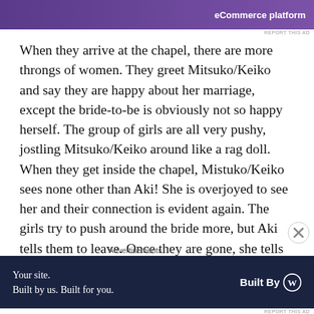[Figure (other): Purple advertisement banner for eCommerce platform with white text]
When they arrive at the chapel, there are more throngs of women. They greet Mitsuko/Keiko and say they are happy about her marriage, except the bride-to-be is obviously not so happy herself. The group of girls are all very pushy, jostling Mitsuko/Keiko around like a rag doll. When they get inside the chapel, Mistuko/Keiko sees none other than Aki! She is overjoyed to see her and their connection is evident again. The girls try to push around the bride more, but Aki tells them to leave. Once they are gone, she tells Mitsuko/Keiko that they are in another world and that the other girls are evil. When the evil girls come back, Aki
Advertisements
[Figure (other): Dark navy advertisement: 'Your site. Built by us. Built for you.' with Built By WordPress logo]